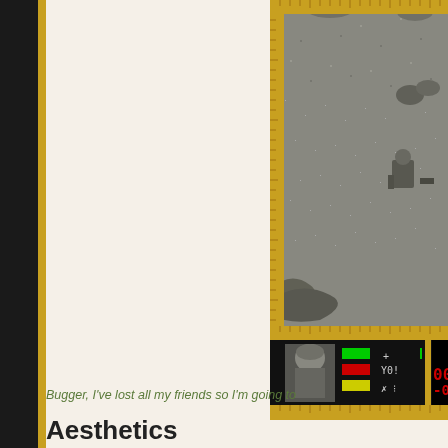[Figure (screenshot): Screenshot of a top-down military video game showing a grayscale desert terrain with rocks and a soldier sprite. At the bottom is a HUD with a soldier portrait, three status bars (green, red, yellow), weapon icons, and a red score display showing '000-0'.]
Bugger, I've lost all my friends so I'm going to
Aesthetics